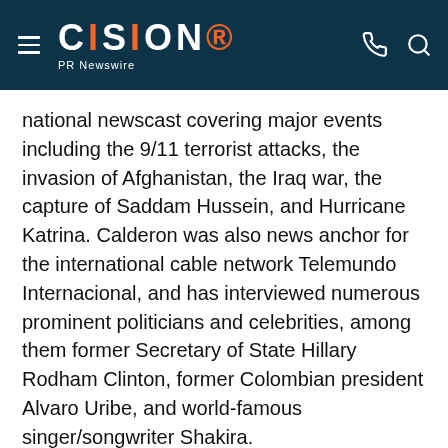CISION PR Newswire
national newscast covering major events including the 9/11 terrorist attacks, the invasion of Afghanistan, the Iraq war, the capture of Saddam Hussein, and Hurricane Katrina. Calderon was also news anchor for the international cable network Telemundo Internacional, and has interviewed numerous prominent politicians and celebrities, among them former Secretary of State Hillary Rodham Clinton, former Colombian president Alvaro Uribe, and world-famous singer/songwriter Shakira.
Named to CableFAX The Magazine's "Most Powerful Women in Cable" for the past seven years, Weinand's